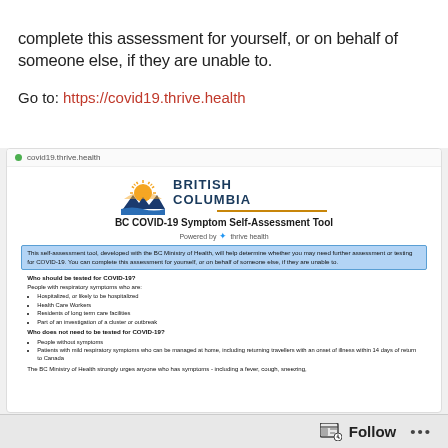complete this assessment for yourself, or on behalf of someone else, if they are unable to.
Go to: https://covid19.thrive.health
[Figure (screenshot): Screenshot of the BC COVID-19 Symptom Self-Assessment Tool website at covid19.thrive.health, showing the British Columbia logo, the tool title, powered by thrive health branding, and introductory text about who should be tested for COVID-19.]
Follow ...